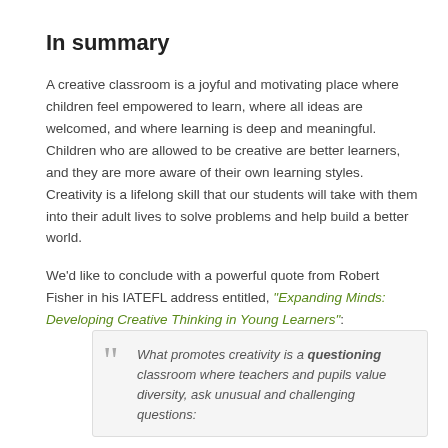In summary
A creative classroom is a joyful and motivating place where children feel empowered to learn, where all ideas are welcomed, and where learning is deep and meaningful. Children who are allowed to be creative are better learners, and they are more aware of their own learning styles. Creativity is a lifelong skill that our students will take with them into their adult lives to solve problems and help build a better world.
We'd like to conclude with a powerful quote from Robert Fisher in his IATEFL address entitled, “Expanding Minds: Developing Creative Thinking in Young Learners”:
What promotes creativity is a questioning classroom where teachers and pupils value diversity, ask unusual and challenging questions: